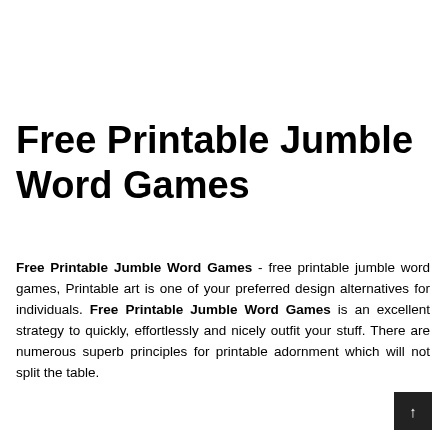Free Printable Jumble Word Games
Free Printable Jumble Word Games - free printable jumble word games, Printable art is one of your preferred design alternatives for individuals. Free Printable Jumble Word Games is an excellent strategy to quickly, effortlessly and nicely outfit your stuff. There are numerous superb principles for printable adornment which will not split the table.